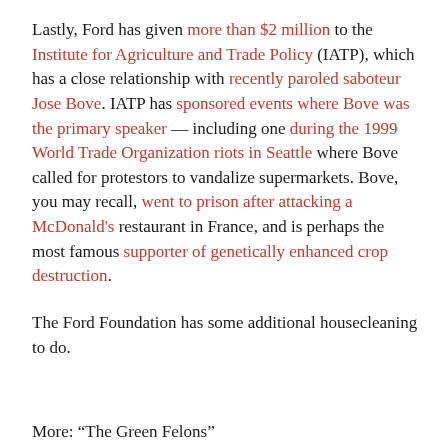Lastly, Ford has given more than $2 million to the Institute for Agriculture and Trade Policy (IATP), which has a close relationship with recently paroled saboteur Jose Bove. IATP has sponsored events where Bove was the primary speaker — including one during the 1999 World Trade Organization riots in Seattle where Bove called for protestors to vandalize supermarkets. Bove, you may recall, went to prison after attacking a McDonald's restaurant in France, and is perhaps the most famous supporter of genetically enhanced crop destruction.
The Ford Foundation has some additional housecleaning to do.
More: "The Green Felons"